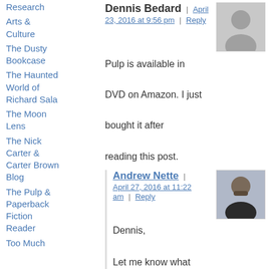Research
Arts & Culture
The Dusty Bookcase
The Haunted World of Richard Sala
The Moon Lens
The Nick Carter & Carter Brown Blog
The Pulp & Paperback Fiction Reader
Too Much
Dennis Bedard | April 23, 2016 at 9:56 pm | Reply

Pulp is available in DVD on Amazon. I just bought it after reading this post.
Andrew Nette | April 27, 2016 at 11:22 am | Reply

Dennis,

Let me know what you think after you have watched it.